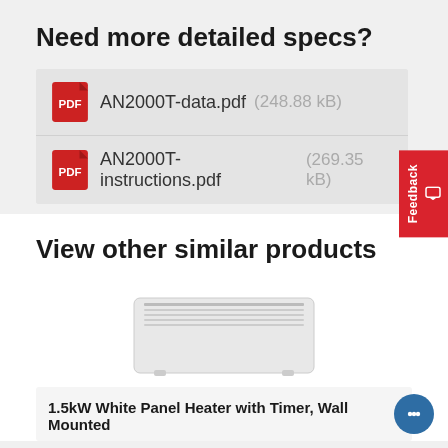Need more detailed specs?
AN2000T-data.pdf  (248.88 kB)
AN2000T-instructions.pdf  (269.35 kB)
View other similar products
[Figure (photo): White panel heater product photo, wall mounted unit shown at slight angle]
1.5kW White Panel Heater with Timer, Wall Mounted